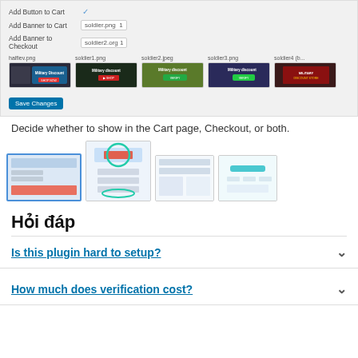[Figure (screenshot): WordPress admin panel showing settings for Add Button to Cart (checkbox checked), Add Banner to Cart (soldier.png 1), Add Banner to Checkout (soldier2.org 1), with five military discount banner image previews and a Save Changes button]
Decide whether to show in the Cart page, Checkout, or both.
[Figure (screenshot): Four plugin screenshot thumbnails showing the plugin interface and settings pages]
Hỏi đáp
Is this plugin hard to setup?
How much does verification cost?